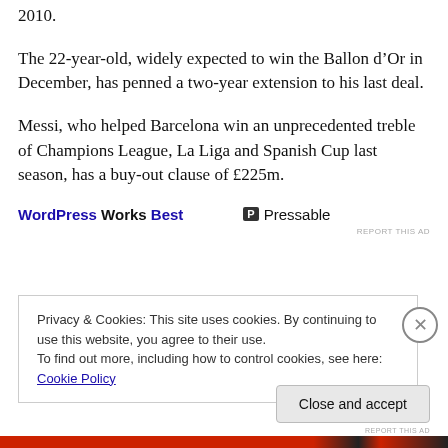2010.
The 22-year-old, widely expected to win the Ballon d’Or in December, has penned a two-year extension to his last deal.
Messi, who helped Barcelona win an unprecedented treble of Champions League, La Liga and Spanish Cup last season, has a buy-out clause of £225m.
[Figure (other): Advertisement banner: 'WordPress Works Best' and 'Pressable' logo with 'REPORT THIS AD' text]
Privacy & Cookies: This site uses cookies. By continuing to use this website, you agree to their use.
To find out more, including how to control cookies, see here: Cookie Policy
Close and accept